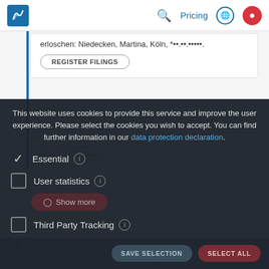Pricing
erloschen: Niedecken, Martina, Köln, *••.••.•••••.
REGISTER FILINGS
This website uses cookies to provide this service and improve the user experience. Please select the cookies you wish to accept. You can find further information in our data protection declaration.
Geschäftsanschrift: Sternengasse 3, 50676 Köln.
REGISTER FILINGS
Essential
User statistics
Third Party Tracking
Show more
Value Profile
SAVE SELECTION
SELECT ALL